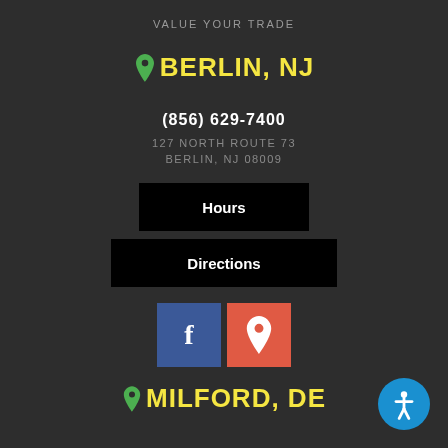VALUE YOUR TRADE
BERLIN, NJ
(856) 629-7400
127 NORTH ROUTE 73
BERLIN, NJ 08009
Hours
Directions
[Figure (infographic): Facebook icon (blue square with white f) and map/location icon (red/orange square with white pin)]
[Figure (infographic): Accessibility icon — blue circle with white person symbol]
MILFORD, DE